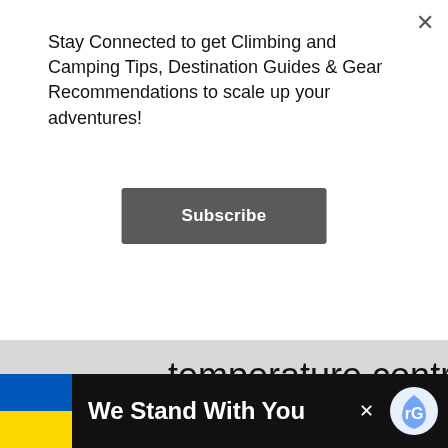Stay Connected to get Climbing and Camping Tips, Destination Guides & Gear Recommendations to scale up your adventures!
Subscribe
temperature control than convection heaters. On the downside, the heating effect stops as soon as it is off, and it may be louder to operate than convection heaters.
[Figure (screenshot): Partial blue button at bottom of article card]
[Figure (screenshot): Partial reCAPTCHA logo on right side]
[Figure (infographic): Ukraine flag banner ad reading 'We Stand With You' on black background with Ukrainian flag colors (blue and yellow)]